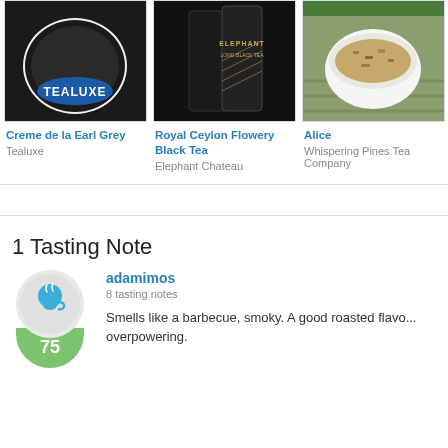[Figure (photo): Tea product image - Creme de la Earl Grey by Tealuxe, showing loose black tea in a white bowl with Tealuxe logo]
Creme de la Earl Grey
Tealuxe
[Figure (photo): Tea product image - Royal Ceylon Flowery Black Tea by Elephant Chateau, showing black packaging bags]
Royal Ceylon Flowery Black Tea
Elephant Chateau
[Figure (photo): Tea product image - Alice by Whispering Pines Tea Company, showing loose tea in a white bowl on bamboo mat]
Alice
Whispering Pines Tea Company
1 Tasting Note
adamimos
8 tasting notes
Smells like a barbecue, smoky. A good roasted flavo... overpowering.